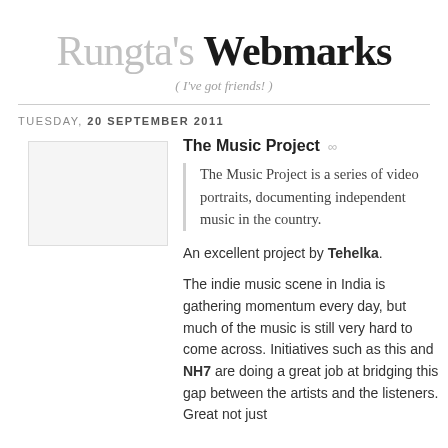Rungta's Webmarks
( I've got friends! )
TUESDAY, 20 SEPTEMBER 2011
[Figure (photo): Thumbnail image placeholder for The Music Project blog post]
The Music Project ∞
The Music Project is a series of video portraits, documenting independent music in the country.
An excellent project by Tehelka.
The indie music scene in India is gathering momentum every day, but much of the music is still very hard to come across. Initiatives such as this and NH7 are doing a great job at bridging this gap between the artists and the listeners. Great not just